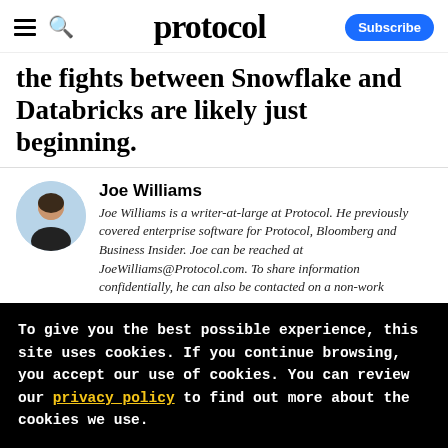protocol — Subscribe
the fights between Snowflake and Databricks are likely just beginning.
Joe Williams
Joe Williams is a writer-at-large at Protocol. He previously covered enterprise software for Protocol, Bloomberg and Business Insider. Joe can be reached at JoeWilliams@Protocol.com. To share information confidentially, he can also be contacted on a non-work
To give you the best possible experience, this site uses cookies. If you continue browsing, you accept our use of cookies. You can review our privacy policy to find out more about the cookies we use.
Accept